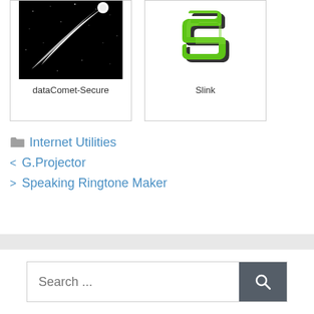[Figure (screenshot): App icon for dataComet-Secure: comet on black background with app name below]
[Figure (logo): App icon for Slink: green 3D letter S logo with app name below]
Internet Utilities
< G.Projector
> Speaking Ringtone Maker
Search ...